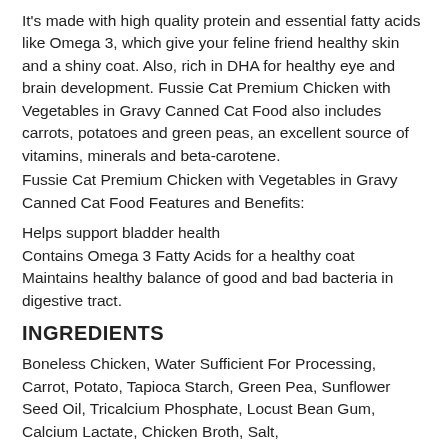It's made with high quality protein and essential fatty acids like Omega 3, which give your feline friend healthy skin and a shiny coat. Also, rich in DHA for healthy eye and brain development. Fussie Cat Premium Chicken with Vegetables in Gravy Canned Cat Food also includes carrots, potatoes and green peas, an excellent source of vitamins, minerals and beta-carotene.
Fussie Cat Premium Chicken with Vegetables in Gravy Canned Cat Food Features and Benefits:
Helps support bladder health
Contains Omega 3 Fatty Acids for a healthy coat
Maintains healthy balance of good and bad bacteria in digestive tract.
INGREDIENTS
Boneless Chicken, Water Sufficient For Processing, Carrot, Potato, Tapioca Starch, Green Pea, Sunflower Seed Oil, Tricalcium Phosphate, Locust Bean Gum, Calcium Lactate, Chicken Broth, Salt, Fructooligosaccharide, Choline Chloride,